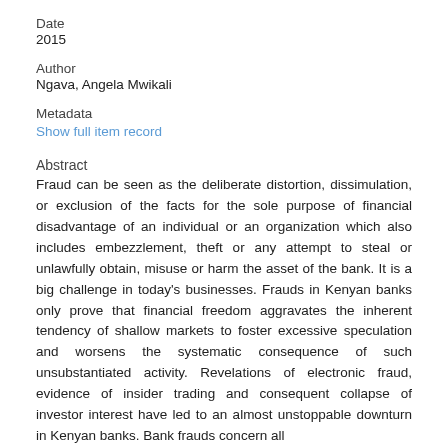Date
2015
Author
Ngava, Angela Mwikali
Metadata
Show full item record
Abstract
Fraud can be seen as the deliberate distortion, dissimulation, or exclusion of the facts for the sole purpose of financial disadvantage of an individual or an organization which also includes embezzlement, theft or any attempt to steal or unlawfully obtain, misuse or harm the asset of the bank. It is a big challenge in today's businesses. Frauds in Kenyan banks only prove that financial freedom aggravates the inherent tendency of shallow markets to foster excessive speculation and worsens the systematic consequence of such unsubstantiated activity. Revelations of electronic fraud, evidence of insider trading and consequent collapse of investor interest have led to an almost unstoppable downturn in Kenyan banks. Bank frauds concern all